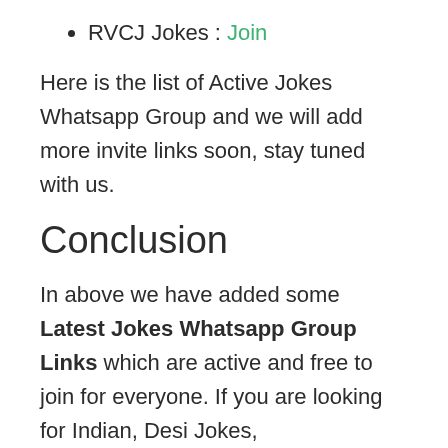RVCJ Jokes : Join
Here is the list of Active Jokes Whatsapp Group and we will add more invite links soon, stay tuned with us.
Conclusion
In above we have added some Latest Jokes Whatsapp Group Links which are active and free to join for everyone. If you are looking for Indian, Desi Jokes,